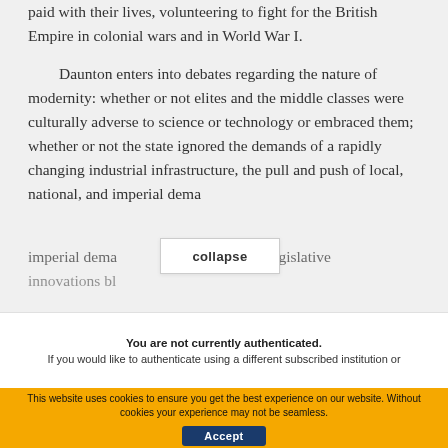Keeping to the ultimate cost that so many paid with their lives, volunteering to fight for the British Empire in colonial wars and in World War I.
Daunton enters into debates regarding the nature of modernity: whether or not elites and the middle classes were culturally adverse to science or technology or embraced them; whether or not the state ignored the demands of a rapidly changing industrial infrastructure, the pull and push of local, national, and imperial demands, and legislative innovations bl... [partially obscured]
collapse
You are not currently authenticated. If you would like to authenticate using a different subscribed institution or
This website uses cookies to ensure you get the best experience on our website. Without cookies your experience may not be seamless.
Accept